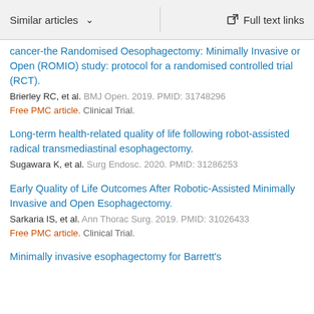Similar articles   ∨   Full text links
cancer-the Randomised Oesophagectomy: Minimally Invasive or Open (ROMIO) study: protocol for a randomised controlled trial (RCT).
Brierley RC, et al. BMJ Open. 2019. PMID: 31748296
Free PMC article. Clinical Trial.
Long-term health-related quality of life following robot-assisted radical transmediastinal esophagectomy.
Sugawara K, et al. Surg Endosc. 2020. PMID: 31286253
Early Quality of Life Outcomes After Robotic-Assisted Minimally Invasive and Open Esophagectomy.
Sarkaria IS, et al. Ann Thorac Surg. 2019. PMID: 31026433
Free PMC article. Clinical Trial.
Minimally invasive esophagectomy for Barrett's